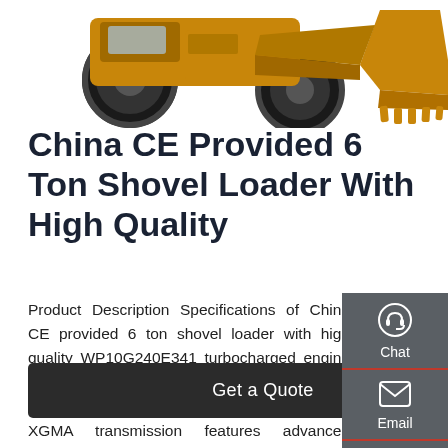[Figure (photo): Partial view of a yellow front-end wheel loader / shovel loader machine showing wheels and bucket]
China CE Provided 6 Ton Shovel Loader With High Quality
Product Description Specifications of China CE provided 6 ton shovel loader with high quality WP10G240E341 turbocharged engine features low fuel consumption, high quality, good power performance, and low noise XGMA transmission features advanced technology; high ...
Get a Quote